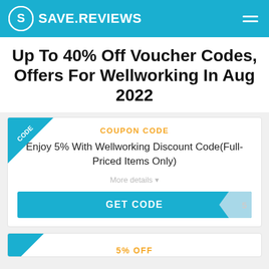SAVE.REVIEWS
Up To 40% Off Voucher Codes, Offers For Wellworking In Aug 2022
[Figure (infographic): Coupon card with ribbon corner labeled CODE, orange COUPON CODE header, description text: Enjoy 5% With Wellworking Discount Code(Full-Priced Items Only), More details dropdown, GET CODE button in teal with code tab on right]
[Figure (infographic): Partial coupon card with ribbon corner, showing 5% OFF label in orange]